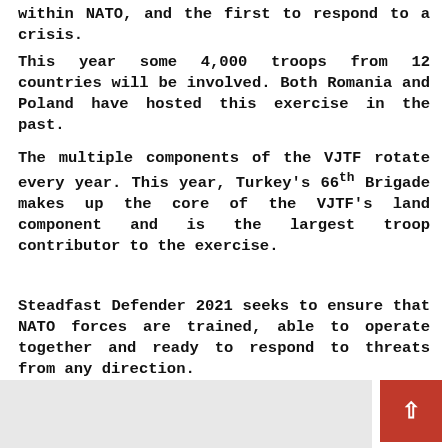within NATO, and the first to respond to a crisis.
This year some 4,000 troops from 12 countries will be involved. Both Romania and Poland have hosted this exercise in the past.
The multiple components of the VJTF rotate every year. This year, Turkey's 66th Brigade makes up the core of the VJTF's land component and is the largest troop contributor to the exercise.
Steadfast Defender 2021 seeks to ensure that NATO forces are trained, able to operate together and ready to respond to threats from any direction.
[Figure (photo): Partial bottom image cropped, light grey/white colored photo visible at bottom left of page]